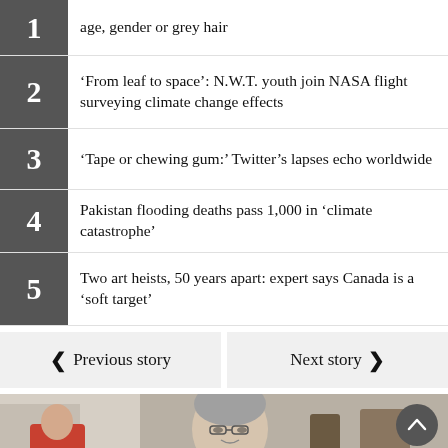1 — age, gender or grey hair
2 — ‘From leaf to space’: N.W.T. youth join NASA flight surveying climate change effects
3 — ‘Tape or chewing gum:’ Twitter’s lapses echo worldwide
4 — Pakistan flooding deaths pass 1,000 in ‘climate catastrophe’
5 — Two art heists, 50 years apart: expert says Canada is a ‘soft target’
Previous story | Next story
[Figure (photo): Elderly woman seated at a restaurant or cafeteria table, with grey hair, glasses, and a slight smile. Another person in a red jacket is partially visible in the background.]